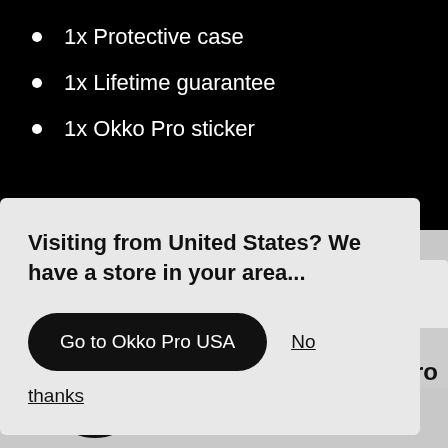1x Protective case
1x Lifetime guarantee
1x Okko Pro sticker
Visiting from United States? We have a store in your area...
Go to Okko Pro USA
No thanks
[Figure (photo): Product photo showing Okko Pro items including a circular sticker/badge with OKKO logo, dark cylindrical case, dark objects, and a white card reading 'Lifetime Guarantee' on a light grey surface]